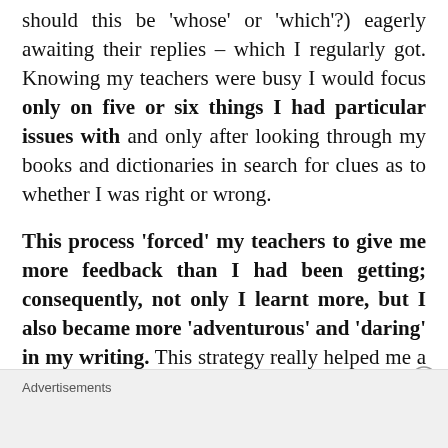should this be 'whose' or 'which'?) eagerly awaiting their replies – which I regularly got. Knowing my teachers were busy I would focus only on five or six things I had particular issues with and only after looking through my books and dictionaries in search for clues as to whether I was right or wrong.
This process 'forced' my teachers to give me more feedback than I had been getting; consequently, not only I learnt more, but I also became more 'adventurous' and 'daring' in my writing. This strategy really helped me a lot.
Advertisements